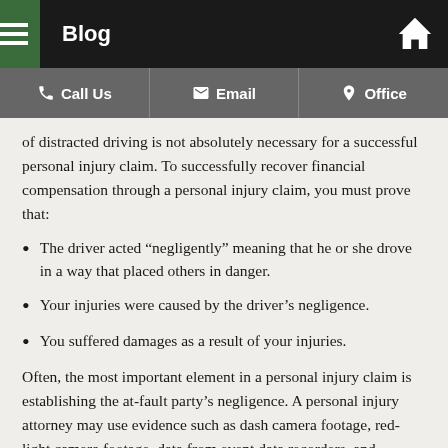Blog
Call Us | Email | Office
of distracted driving is not absolutely necessary for a successful personal injury claim. To successfully recover financial compensation through a personal injury claim, you must prove that:
The driver acted “negligently” meaning that he or she drove in a way that placed others in danger.
Your injuries were caused by the driver’s negligence.
You suffered damages as a result of your injuries.
Often, the most important element in a personal injury claim is establishing the at-fault party’s negligence. A personal injury attorney may use evidence such as dash camera footage, red-light camera footage, data from event data recorders, and eyewitness statements to demonstrate the driver’s negligence.